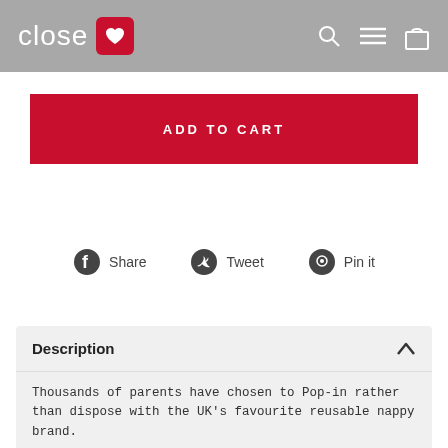close ♥
ADD TO CART
Share   Tweet   Pin it
Description
Thousands of parents have chosen to Pop-in rather than dispose with the UK's favourite reusable nappy brand.

Pop-in is as simple with your newborn as it is with your toddler